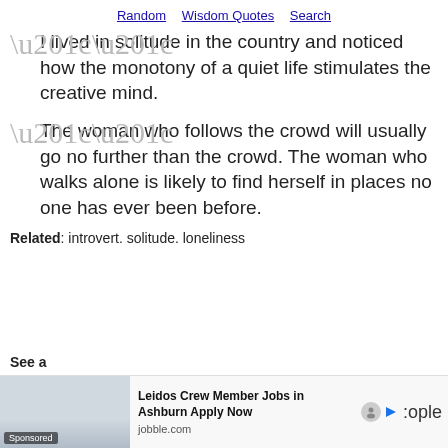Random   Wisdom Quotes   Search
“I lived in solitude in the country and noticed how the monotony of a quiet life stimulates the creative mind.
“The woman who follows the crowd will usually go no further than the crowd. The woman who walks alone is likely to find herself in places no one has ever been before.
Related: introvert. solitude. loneliness
See a
[Figure (photo): Advertisement banner: people in business attire, Leidos Crew Member Jobs in Ashburn Apply Now, jobble.com, Sponsored label]